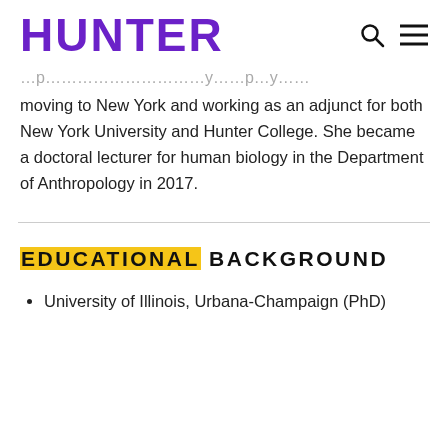HUNTER
moving to New York and working as an adjunct for both New York University and Hunter College. She became a doctoral lecturer for human biology in the Department of Anthropology in 2017.
EDUCATIONAL BACKGROUND
University of Illinois, Urbana-Champaign (PhD)